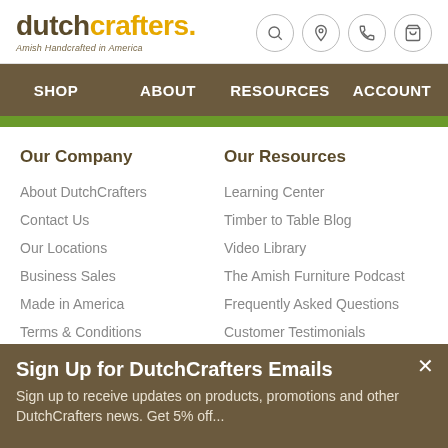dutchcrafters. Amish Handcrafted in America
SHOP   ABOUT   RESOURCES   ACCOUNT
Our Company
About DutchCrafters
Contact Us
Our Locations
Business Sales
Made in America
Terms & Conditions
Furniture Delivery
Financing
Our Resources
Learning Center
Timber to Table Blog
Video Library
The Amish Furniture Podcast
Frequently Asked Questions
Customer Testimonials
Furniture Care
Sign Up for DutchCrafters Emails
Sign up to receive updates on products, promotions and other DutchCrafters news. Get 5% off...